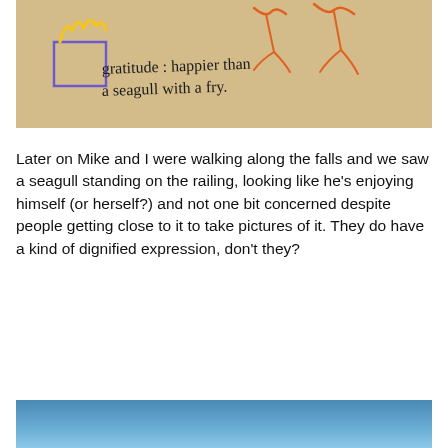[Figure (photo): A hand-drawn illustration on beige paper showing a box of french fries (drawn in purple/blue outline with yellow fries), and two orange bird/seagull sketches. Handwritten text reads: 'gratitude: happier than a seagull with a fry.']
Later on Mike and I were walking along the falls and we saw a seagull standing on the railing, looking like he's enjoying himself (or herself?) and not one bit concerned despite people getting close to it to take pictures of it. They do have a kind of dignified expression, don't they?
[Figure (photo): Bottom portion of a photograph showing a blue sky with gradient from medium blue to lighter blue, and a hint of landscape or water at the horizon.]